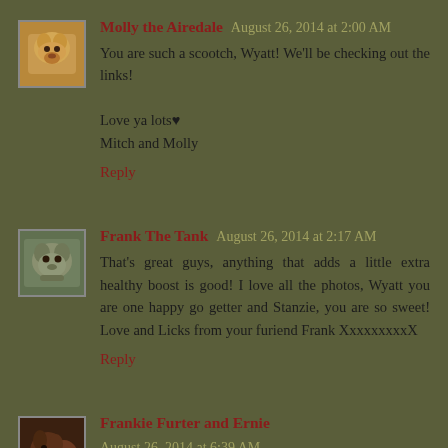[Figure (photo): Avatar image of Molly the Airedale dog]
Molly the Airedale  August 26, 2014 at 2:00 AM
You are such a scootch, Wyatt! We'll be checking out the links!

Love ya lots♥
Mitch and Molly
Reply
[Figure (photo): Avatar image of Frank The Tank dog]
Frank The Tank  August 26, 2014 at 2:17 AM
That's great guys, anything that adds a little extra healthy boost is good! I love all the photos, Wyatt you are one happy go getter and Stanzie, you are so sweet! Love and Licks from your furiend Frank XxxxxxxxxX
Reply
[Figure (photo): Avatar image of Frankie Furter and Ernie dogs]
Frankie Furter and Ernie  August 26, 2014 at 6:39 AM
We are REALLY REALLY glad to know that the...